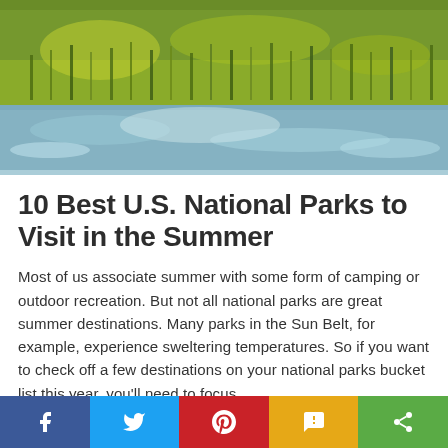[Figure (photo): Aerial or ground-level photograph of a wetland or marsh landscape with green grasses and reeds, water reflections, and natural scenery typical of a national park.]
10 Best U.S. National Parks to Visit in the Summer
Most of us associate summer with some form of camping or outdoor recreation. But not all national parks are great summer destinations. Many parks in the Sun Belt, for example, experience sweltering temperatures. So if you want to check off a few destinations on your national parks bucket list this year, you'll need to focus
CONTINUE READING
[Figure (infographic): Social media share bar with five buttons: Facebook (blue), Twitter (light blue), Pinterest (red), SMS (yellow/amber), and Share (green), each with corresponding icon.]